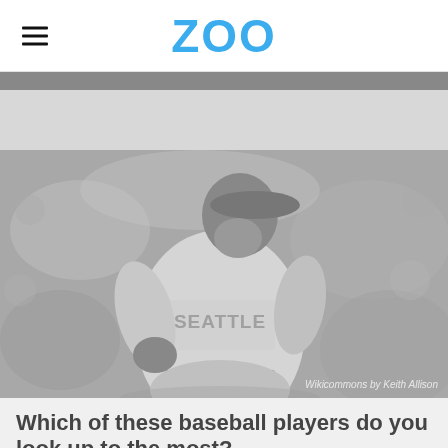ZOO
[Figure (photo): Black and white photo of a Seattle Mariners baseball player in uniform looking upward, wearing a batting helmet. The background shows a blurred crowd. Photo credit: Wikicommons by Keith Allison]
Which of these baseball players do you look up to the most?